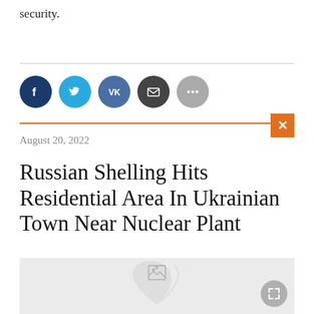security.
[Figure (other): Social media share icons: Facebook, Twitter, VK, Email, More]
Russian Shelling Hits Residential Area In Ukrainian Town Near Nuclear Plant
August 20, 2022
[Figure (photo): Placeholder image with leaf watermark and expand button]